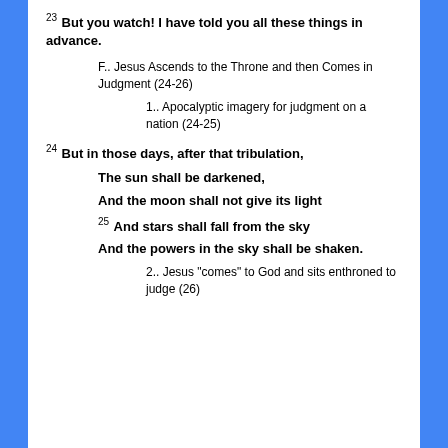23 But you watch! I have told you all these things in advance.
F.. Jesus Ascends to the Throne and then Comes in Judgment (24-26)
1.. Apocalyptic imagery for judgment on a nation (24-25)
24 But in those days, after that tribulation,
The sun shall be darkened,
And the moon shall not give its light
25 And stars shall fall from the sky
And the powers in the sky shall be shaken.
2.. Jesus "comes" to God and sits enthroned to judge (26)